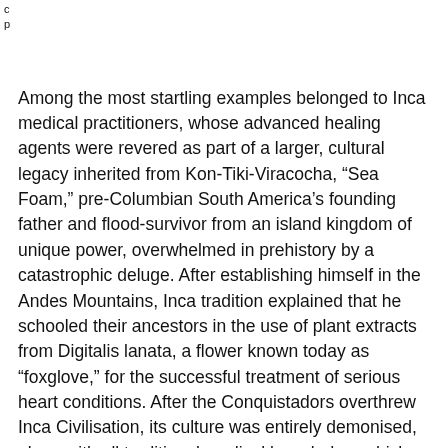c
p
Among the most startling examples belonged to Inca medical practitioners, whose advanced healing agents were revered as part of a larger, cultural legacy inherited from Kon-Tiki-Viracocha, “Sea Foam,” pre-Columbian South America’s founding father and flood-survivor from an island kingdom of unique power, overwhelmed in prehistory by a catastrophic deluge. After establishing himself in the Andes Mountains, Inca tradition explained that he schooled their ancestors in the use of plant extracts from Digitalis lanata, a flower known today as “foxglove,” for the successful treatment of serious heart conditions. After the Conquistadors overthrew Inca Civilisation, its culture was entirely demonised, along with all traditional medical knowledge, which fell into oblivion for the next four centuries.
Not until 1930 were botanists able to extract digoxin from the leaves of the foxglove plant and discovered (re-discovered) its effective properties for treating atrial flutter...